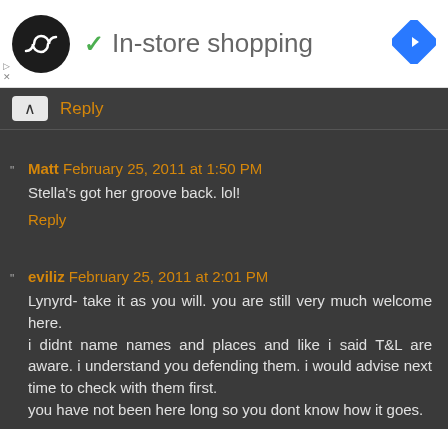[Figure (logo): Black circle logo with infinity/loop symbol, green checkmark, and text 'In-store shopping' with blue navigation diamond icon on right]
Reply
Matt February 25, 2011 at 1:50 PM
Stella's got her groove back. lol!
Reply
eviliz February 25, 2011 at 2:01 PM
Lynyrd- take it as you will. you are still very much welcome here.
i didnt name names and places and like i said T&L are aware. i understand you defending them. i would advise next time to check with them first.
you have not been here long so you dont know how it goes.